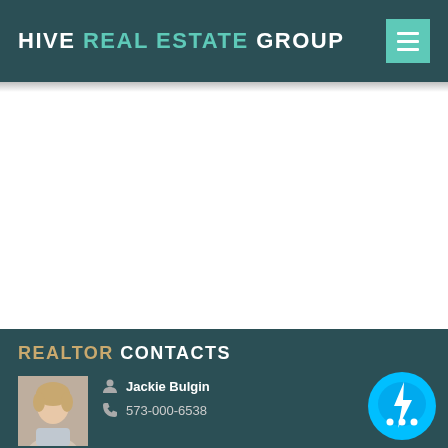HIVE REAL ESTATE GROUP
[Figure (screenshot): White content area (blank)]
REALTOR CONTACTS
[Figure (photo): Headshot photo of Jackie Bulgin, a woman with short blonde hair]
Jackie Bulgin
573-000-6538